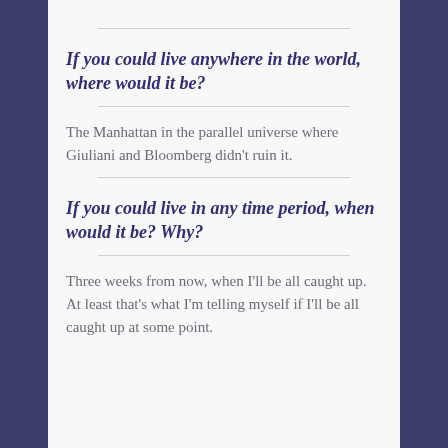If you could live anywhere in the world, where would it be?
The Manhattan in the parallel universe where Giuliani and Bloomberg didn't ruin it.
If you could live in any time period, when would it be? Why?
Three weeks from now, when I'll be all caught up. At least that's what I'm telling myself if I'll be all caught up at some point.